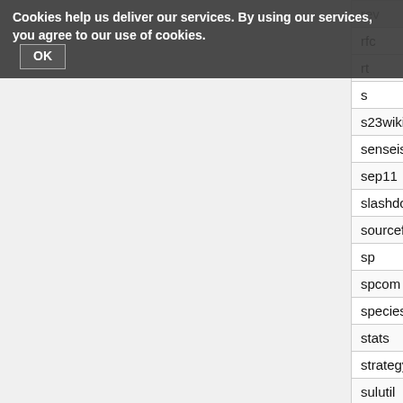Cookies help us deliver our services. By using our services, you agree to our use of cookies. OK
|  |  |
| --- | --- |
| rfc | http://www.rfc-editor.or |
| rt | https://rt.wikimedia.org |
| s | https://en.wikisource.c |
| s23wiki | http://is-root.de/wiki/in |
| senseislibrary | http://senseis.xmp.net |
| sep11 | https://sep11.wikipedia |
| slashdot | http://slashdot.org/arti |
| sourceforge | http://sourceforge.net/ |
| sp | http://www.species-id.n |
| spcom | https://spcom.wikimed |
| species | https://species.wikime |
| stats | https://stats.wikimedia |
| strategy | https://strategy.wikime |
| sulutil | https://meta.wikimedia |